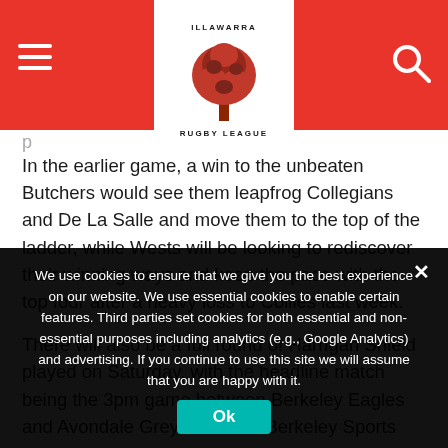Illawarra Rugby League — navigation header with logo, hamburger menu, and search icon
In the earlier game, a win to the unbeaten Butchers would see them leapfrog Collegians and De La Salle and move them to the top of the ladder, while Wests will be looking to rediscover their winning ways and keep the pace with the top four after a heavy loss to Collies last week.
There will also be a full round of Harrigan Shield played on Saturday, with the headline match being the 3pm game between Berkeley Eagles and Avondale Greyhounds at Berkeley Sports
We use cookies to ensure that we give you the best experience on our website. We use essential cookies to enable certain features. Third parties set cookies for both essential and non-essential purposes including analytics (e.g., Google Analytics) and advertising. If you continue to use this site we will assume that you are happy with it.